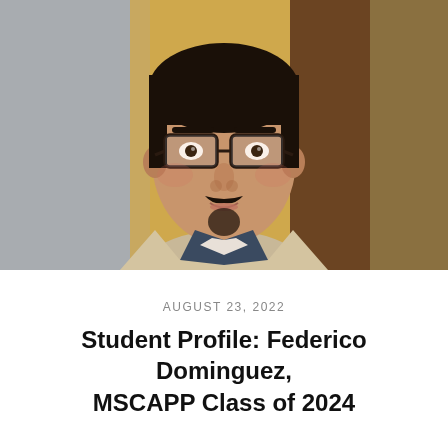[Figure (photo): Headshot photo of a young man with glasses, goatee, wearing a beige blazer and dark shirt, photographed indoors against a blurred background of grey and warm-toned panels.]
AUGUST 23, 2022
Student Profile: Federico Dominguez, MSCAPP Class of 2024